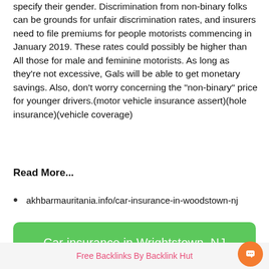specify their gender. Discrimination from non-binary folks can be grounds for unfair discrimination rates, and insurers need to file premiums for people motorists commencing in January 2019. These rates could possibly be higher than All those for male and feminine motorists. As long as they're not excessive, Gals will be able to get monetary savings. Also, don't worry concerning the "non-binary" price for younger drivers.(motor vehicle insurance assert)(hole insurance)(vehicle coverage)
Read More...
akhbarmauritania.info/car-insurance-in-woodstown-nj
Car insurance in Wrightstown, NJ
Free Backlinks By Backlink Hut